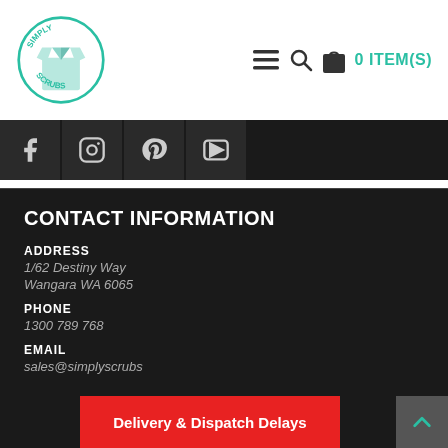[Figure (logo): Simply Scrubs circular logo with a scrubs shirt illustration and teal text]
[Figure (infographic): Navigation bar with hamburger menu, search icon, bag icon, and '0 ITEM(S)' text in teal]
[Figure (infographic): Social media icon bar with Facebook, Instagram, Pinterest, and YouTube icons on dark background]
CONTACT INFORMATION
ADDRESS
1/62 Destiny Way
Wangara WA 6065
PHONE
1300 789 768
EMAIL
sales@simplyscrubs
[Figure (infographic): Red notification banner reading 'Delivery & Dispatch Delays']
[Figure (infographic): Grey scroll-to-top button with teal upward chevron arrow]